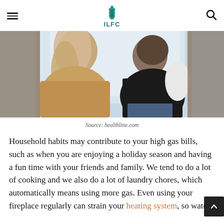ILFC
[Figure (photo): Two people seen from behind, sitting by a window, one with long blonde hair wearing a tan sweater, the other wearing a black top, looking outside.]
Source: healthline.com
Household habits may contribute to your high gas bills, such as when you are enjoying a holiday season and having a fun time with your friends and family. We tend to do a lot of cooking and we also do a lot of laundry chores, which automatically means using more gas. Even using your fireplace regularly can strain your heating system, so watch